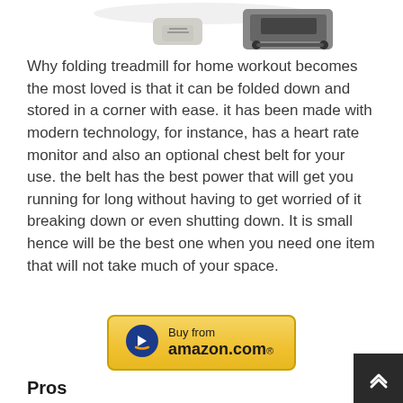[Figure (photo): Partial view of product images at the top — a person tying shoes near a treadmill and a folding treadmill machine]
Why folding treadmill for home workout becomes the most loved is that it can be folded down and stored in a corner with ease. it has been made with modern technology, for instance, has a heart rate monitor and also an optional chest belt for your use. the belt has the best power that will get you running for long without having to get worried of it breaking down or even shutting down. It is small hence will be the best one when you need one item that will not take much of your space.
[Figure (other): Buy from amazon.com button with Amazon arrow logo]
Pros